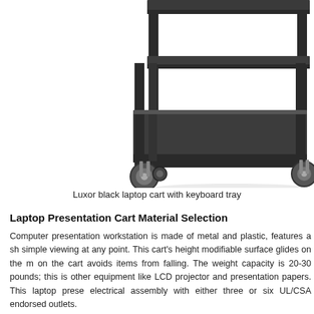[Figure (photo): Luxor black laptop cart with keyboard tray, showing bottom shelf and caster wheels, photographed from a low angle against white background.]
Luxor black laptop cart with keyboard tray
Laptop Presentation Cart Material Selection
Computer presentation workstation is made of metal and plastic, features a simple viewing at any point. This cart's height modifiable surface glides on the m on the cart avoids items from falling. The weight capacity is 20-30 pounds; this is other equipment like LCD projector and presentation papers. This laptop prese electrical assembly with either three or six UL/CSA endorsed outlets.